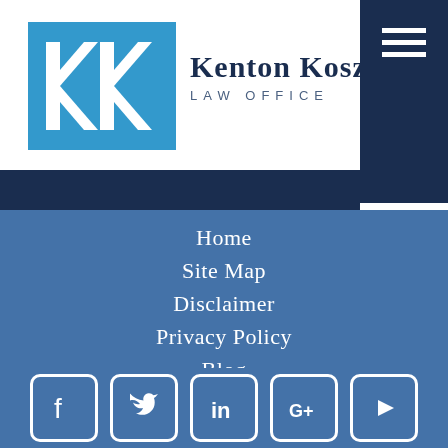[Figure (logo): Kenton Koszdin Law Office logo — blue square with white KK double-K monogram and firm name]
Home
Site Map
Disclaimer
Privacy Policy
Blog
Newsletters
Contact
[Figure (illustration): Social media icons row: Facebook, Twitter, LinkedIn, Google+, YouTube — white icons with rounded square borders on blue background]